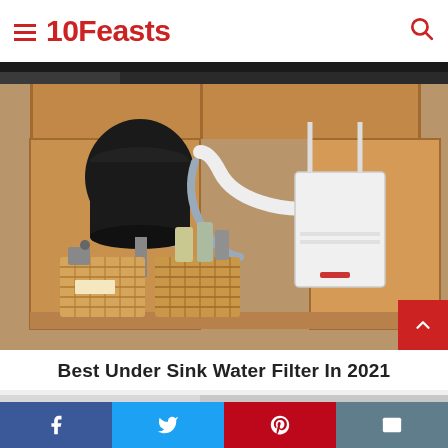10Feasts
[Figure (photo): Under-sink cabinet open showing water filter system, garbage disposal, pipes, and wicker baskets with bottles]
Best Under Sink Water Filter In 2021
[Figure (photo): Partial view of a black vacuum or blower tool on gray background]
Social share bar: Facebook, Twitter, Pinterest, Email